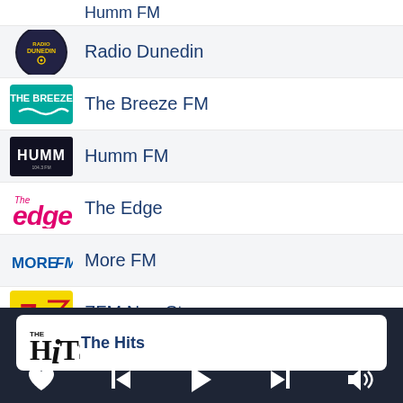Radio Dunedin
The Breeze FM
Humm FM
The Edge
More FM
ZFM Non-Stop
[Figure (screenshot): Music player bottom bar showing now-playing 'The Hits' and playback controls (heart, skip back, play, skip forward, volume)]